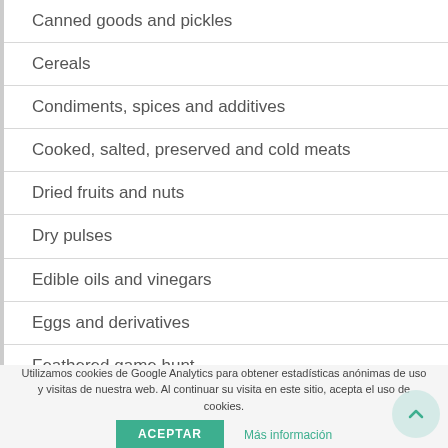Canned goods and pickles
Cereals
Condiments, spices and additives
Cooked, salted, preserved and cold meats
Dried fruits and nuts
Dry pulses
Edible oils and vinegars
Eggs and derivatives
Feathered game hunt
Fish cuts
Fishes
Insects
Utilizamos cookies de Google Analytics para obtener estadísticas anónimas de uso y visitas de nuestra web. Al continuar su visita en este sitio, acepta el uso de cookies.
ACEPTAR   Más información